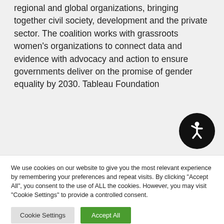regional and global organizations, bringing together civil society, development and the private sector. The coalition works with grassroots women’s organizations to connect data and evidence with advocacy and action to ensure governments deliver on the promise of gender equality by 2030. Tableau Foundation
[Figure (illustration): Black circular accessibility icon with a stylized human figure (wheelchair/accessibility symbol) in white]
We use cookies on our website to give you the most relevant experience by remembering your preferences and repeat visits. By clicking “Accept All”, you consent to the use of ALL the cookies. However, you may visit "Cookie Settings" to provide a controlled consent.